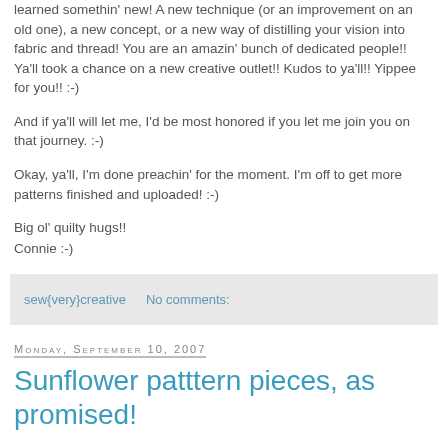learned somethin' new! A new technique (or an improvement on an old one), a new concept, or a new way of distilling your vision into fabric and thread! You are an amazin' bunch of dedicated people!! Ya'll took a chance on a new creative outlet!! Kudos to ya'll!! Yippee for you!! :-)
And if ya'll will let me, I'd be most honored if you let me join you on that journey. :-)
Okay, ya'll, I'm done preachin' for the moment. I'm off to get more patterns finished and uploaded! :-)
Big ol' quilty hugs!!
Connie :-)
sew{very}creative   No comments:
Monday, September 10, 2007
Sunflower patttern pieces, as promised!